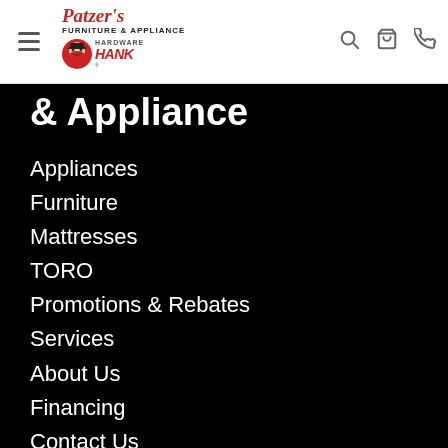[Figure (logo): Patzer's Furniture & Appliance Hardware Hank logo with red text and mascot icon]
& Appliance
Appliances
Furniture
Mattresses
TORO
Promotions & Rebates
Services
About Us
Financing
Contact Us
Hardware Hank
Careers
Return & Store Policies